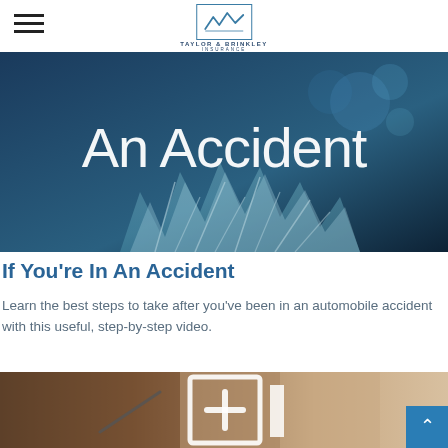Taylor & Brinkley Insurance
[Figure (photo): Close-up of shattered car windshield glass with dark blurred background and large white text 'An Accident' overlaid]
If You're In An Accident
Learn the best steps to take after you've been in an automobile accident with this useful, step-by-step video.
[Figure (photo): Person writing on paper with a white icon overlay showing a document with a plus sign and a vertical bar, suggesting medical or claims documentation]